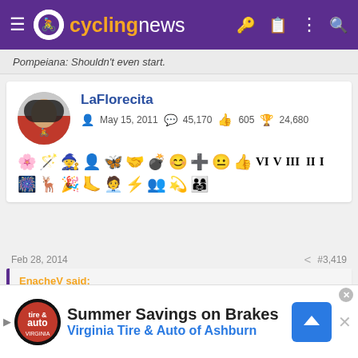cyclingnews
Pompeiana: Shouldn't even start.
LaFlorecita
May 15, 2011  45,170  605  24,680
Feb 28, 2014  #3,419
EnacheV said:
Vincenzo Nibali @VincenzoNibali 30m
[Figure (screenshot): Ad banner: Summer Savings on Brakes - Virginia Tire & Auto of Ashburn]